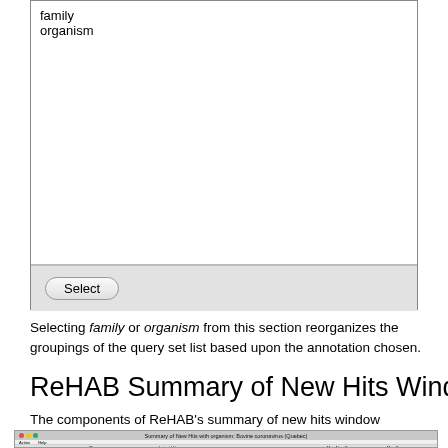[Figure (screenshot): A macOS-style dialog box with a list box containing two items: 'family' and 'organism', and a 'Select' button at the bottom on a gray button bar.]
Selecting family or organism from this section reorganizes the groupings of the query set list based upon the annotation chosen.
ReHAB Summary of New Hits Window
The components of ReHAB's summary of new hits window
[Figure (screenshot): A macOS application window titled 'Summary of New Hits with organism: Bovine coronavirus (Quebec)' showing a table with columns: Action, Help, ID, Latest Hit, Max New Score, Max Score. Partial row data is visible at the bottom.]